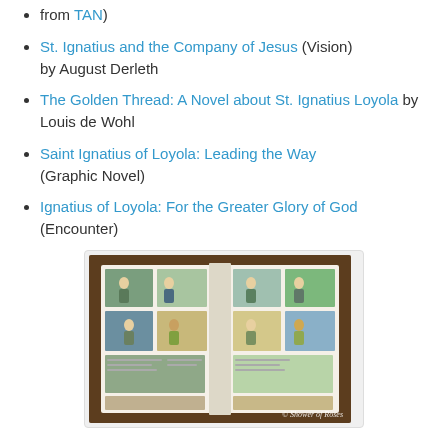from TAN)
St. Ignatius and the Company of Jesus (Vision) by August Derleth
The Golden Thread: A Novel about St. Ignatius Loyola by Louis de Wohl
Saint Ignatius of Loyola: Leading the Way (Graphic Novel)
Ignatius of Loyola: For the Greater Glory of God (Encounter)
[Figure (photo): Open graphic novel / comic book showing illustrated panels depicting scenes from the life of St. Ignatius of Loyola, with a watermark reading '© Shower of Roses']